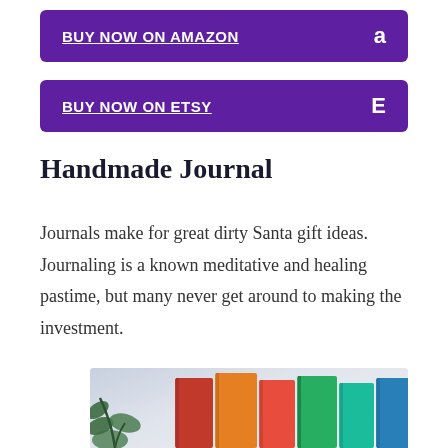[Figure (other): Purple button: BUY NOW ON AMAZON with Amazon 'a' logo icon on right]
[Figure (other): Purple button: BUY NOW ON ETSY with Etsy 'E' logo icon on right]
Handmade Journal
Journals make for great dirty Santa gift ideas. Journaling is a known meditative and healing pastime, but many never get around to making the investment.
[Figure (photo): Photo of colorful handmade journals/books in red, orange, green and teal stacked together with a green plant in the foreground, on a light blue/grey background.]